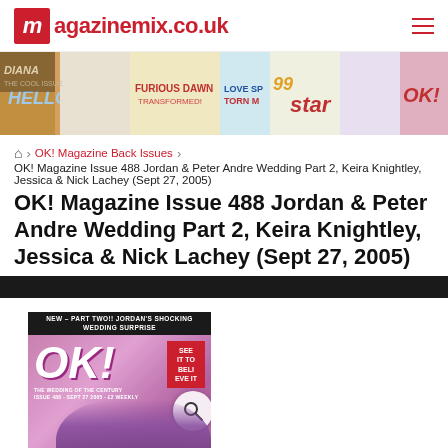magazinemix.co.uk
[Figure (photo): Banner image showing various magazine covers including Hello!, Diana, Star, OK! and others in a collage]
⌂ > OK! Magazine Back Issues > OK! Magazine Issue 488 Jordan & Peter Andre Wedding Part 2, Keira Knightley, Jessica & Nick Lachey (Sept 27, 2005)
OK! Magazine Issue 488 Jordan & Peter Andre Wedding Part 2, Keira Knightley, Jessica & Nick Lachey (Sept 27, 2005)
[Figure (photo): OK! Magazine Issue 488 cover showing Jordan and Peter Andre wedding, with headline NEW-PART TWO!! JORDAN'S SHOCKING WEDDING SURPRISE and SEE IT TO BELIEVE IT text]